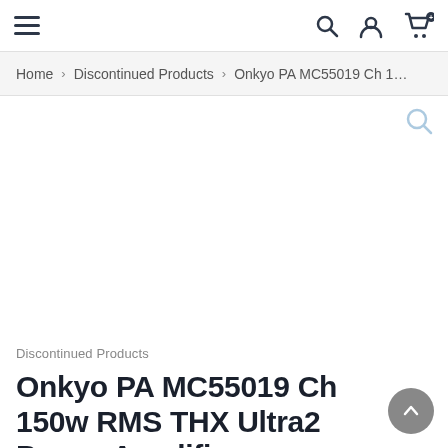Navigation bar with hamburger menu, search, user, and cart icons
Home > Discontinued Products > Onkyo PA MC55019 Ch 1…
[Figure (photo): Product image area (blank/white) with a magnify/zoom icon in the top-right corner]
Discontinued Products
Onkyo PA MC55019 Ch 150w RMS THX Ultra2 Power Amplifier